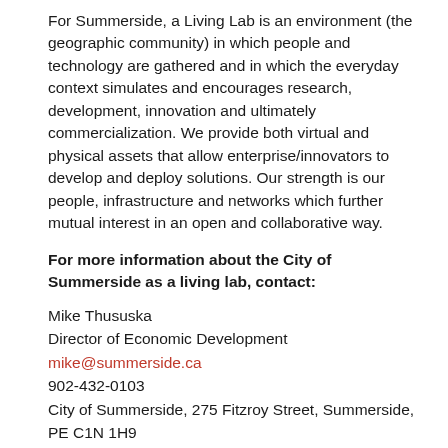For Summerside, a Living Lab is an environment (the geographic community) in which people and technology are gathered and in which the everyday context simulates and encourages research, development, innovation and ultimately commercialization. We provide both virtual and physical assets that allow enterprise/innovators to develop and deploy solutions. Our strength is our people, infrastructure and networks which further mutual interest in an open and collaborative way.
For more information about the City of Summerside as a living lab, contact:
Mike Thususka
Director of Economic Development
mike@summerside.ca
902-432-0103
City of Summerside, 275 Fitzroy Street, Summerside, PE C1N 1H9
Related City Documents:
Summerside Living Lab
Related External Links: